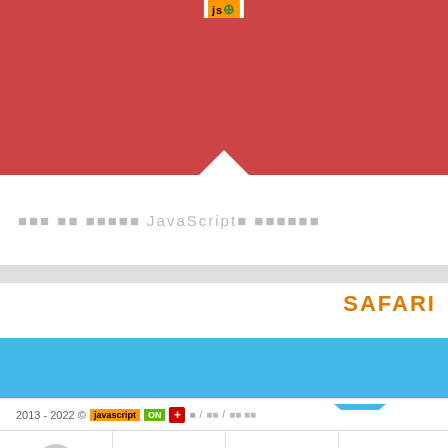[Figure (screenshot): JSPlus logo badge in orange/green at top center]
[Figure (screenshot): Red banner with white downward-pointing notch at bottom]
이 사 이트는 JavaScript를 사용합니다
[Figure (screenshot): Safari browser card with blue band and loading bar showing LOADING... 23% in green, decorative squiggle text on right]
2013 - 2022 © javascript ON + 圖 / 한국 / 언어 선택
[Figure (screenshot): Social media icons row: JSPlus circle, Facebook f, Twitter bird, LinkedIn in]